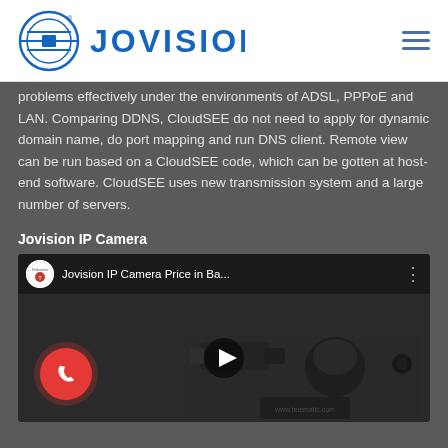[Figure (logo): Jovision logo with circular emblem and brand name in blue]
problems effectively under the environments of ADSL, PPPoE and LAN. Comparing DDNS, CloudSEE do not need to apply for dynamic domain name, do port mapping and run DNS client. Remote view can be run based on a CloudSEE code, which can be gotten at host-end software. CloudSEE uses new transmission system and a large number of servers.
Jovision IP Camera
[Figure (screenshot): YouTube video thumbnail showing Jovision IP Camera Price in Ba... by Telematic channel, with camera products and play button visible]